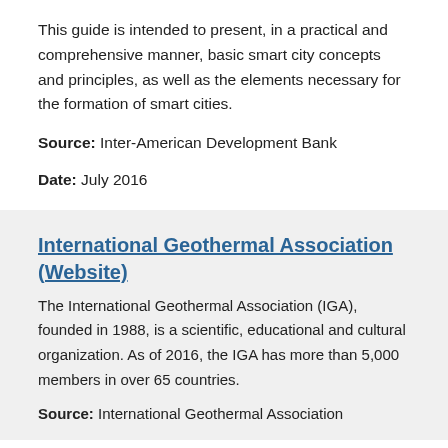This guide is intended to present, in a practical and comprehensive manner, basic smart city concepts and principles, as well as the elements necessary for the formation of smart cities.
Source: Inter-American Development Bank
Date: July 2016
International Geothermal Association (Website)
The International Geothermal Association (IGA), founded in 1988, is a scientific, educational and cultural organization. As of 2016, the IGA has more than 5,000 members in over 65 countries.
Source: International Geothermal Association